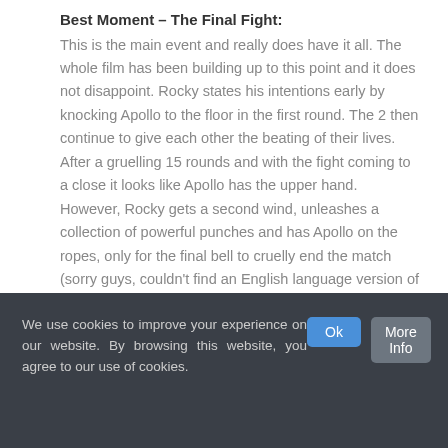Best Moment – The Final Fight:
This is the main event and really does have it all. The whole film has been building up to this point and it does not disappoint. Rocky states his intentions early by knocking Apollo to the floor in the first round. The 2 then continue to give each other the beating of their lives. After a gruelling 15 rounds and with the fight coming to a close it looks like Apollo has the upper hand. However, Rocky gets a second wind, unleashes a collection of powerful punches and has Apollo on the ropes, only for the final bell to cruelly end the match (sorry guys, couldn't find an English language version of the final fight that allows me to embed the video).
We use cookies to improve your experience on our website. By browsing this website, you agree to our use of cookies.